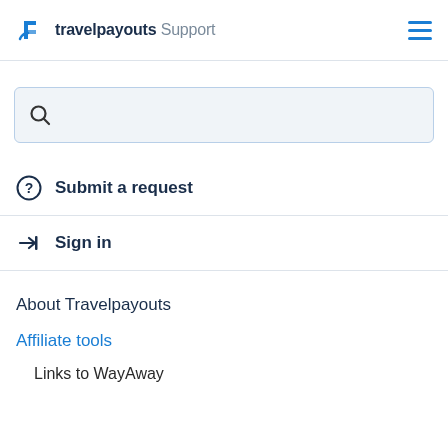travelpayouts Support
[Figure (other): Search input box with magnifying glass icon]
Submit a request
Sign in
About Travelpayouts
Affiliate tools
Links to WayAway